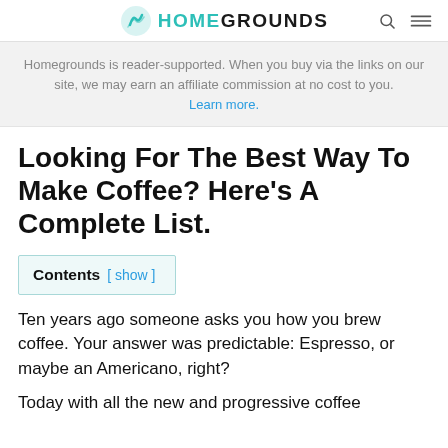HOMEGROUNDS
Homegrounds is reader-supported. When you buy via the links on our site, we may earn an affiliate commission at no cost to you. Learn more.
Looking For The Best Way To Make Coffee? Here’s A Complete List.
Contents [ show ]
Ten years ago someone asks you how you brew coffee. Your answer was predictable: Espresso, or maybe an Americano, right?
Today with all the new and progressive coffee